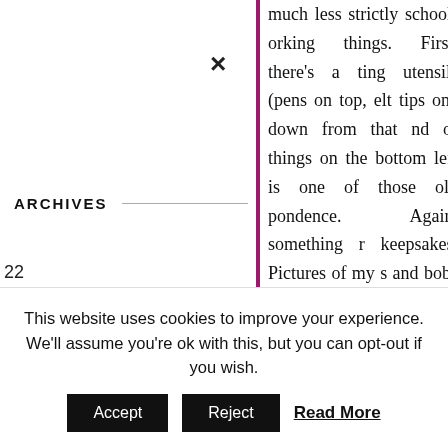×
ARCHIVES
22
2021
2021
2021
much less strictly school-orking things. First, there's a ting utensils (pens on top, elt tips one down from that nd of things on the bottom left is one of those old pondence. Again, something r keepsakes. Pictures of my s and bobs that make me
order: spare inserts for my ently working on (so I can
This website uses cookies to improve your experience. We'll assume you're ok with this, but you can opt-out if you wish.
Accept  Reject  Read More